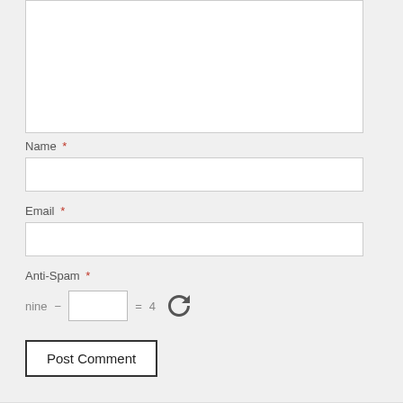Name *
Email *
Anti-Spam *
nine − [input] = 4
Post Comment